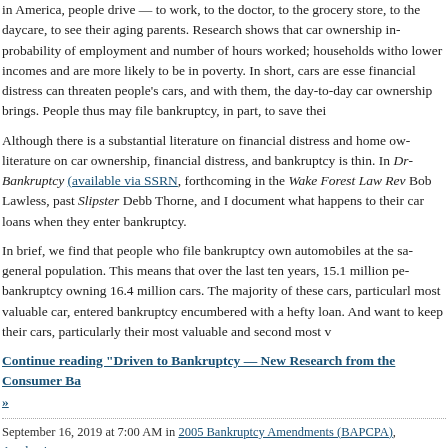In America, people drive — to work, to the doctor, to the grocery store, to the daycare, to see their aging parents. Research shows that car ownership increases probability of employment and number of hours worked; households without cars have lower incomes and are more likely to be in poverty. In short, cars are essential, and financial distress can threaten people's cars, and with them, the day-to-day mobility car ownership brings. People thus may file bankruptcy, in part, to save their cars.
Although there is a substantial literature on financial distress and home ownership, the literature on car ownership, financial distress, and bankruptcy is thin. In Driven to Bankruptcy (available via SSRN, forthcoming in the Wake Forest Law Review), Bob Lawless, past Slipster Debb Thorne, and I document what happens to people and their car loans when they enter bankruptcy.
In brief, we find that people who file bankruptcy own automobiles at the same rate as the general population. This means that over the last ten years, 15.1 million people have filed bankruptcy owning 16.4 million cars. The majority of these cars, particularly the most valuable car, entered bankruptcy encumbered with a hefty loan. And most filers want to keep their cars, particularly their most valuable and second most valuable car.
Continue reading "Driven to Bankruptcy — New Research from the Consumer Bankruptcy Data Project" »
September 16, 2019 at 7:00 AM in 2005 Bankruptcy Amendments (BAPCPA), Academic Bankruptcy Data, Consumer Bankruptcy, Consumer Contracts | Permalink | Comments (0)
[Figure (infographic): Social sharing buttons: Twitter (blue bird), Facebook (blue f), Email (grey envelope), LinkedIn (blue in), More Options (green circle dots)]